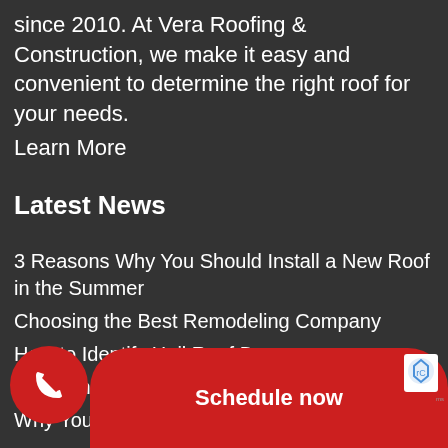since 2010. At Vera Roofing & Construction, we make it easy and convenient to determine the right roof for your needs. Learn More
Latest News
3 Reasons Why You Should Install a New Roof in the Summer
Choosing the Best Remodeling Company
How to Identify Hail Roof Damage
The Dangerous Costs of DIY Roof Repair
Why You Should Hire a Professional For [f Re...]
Schedule now